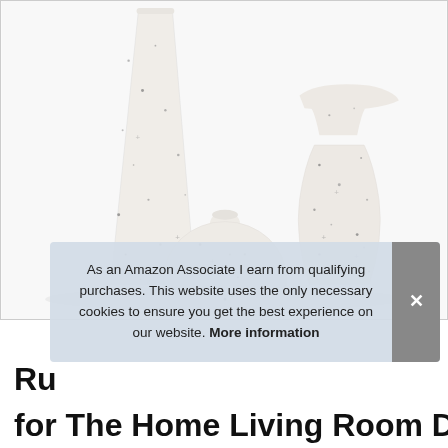[Figure (photo): Three white speckled ceramic vases of different shapes and sizes against a white background. Left: tall conical vase, center: short round squat vase, right: classic curved vase with flared top.]
As an Amazon Associate I earn from qualifying purchases. This website uses the only necessary cookies to ensure you get the best experience on our website. More information
Ru
for The Home Living Room Decor and